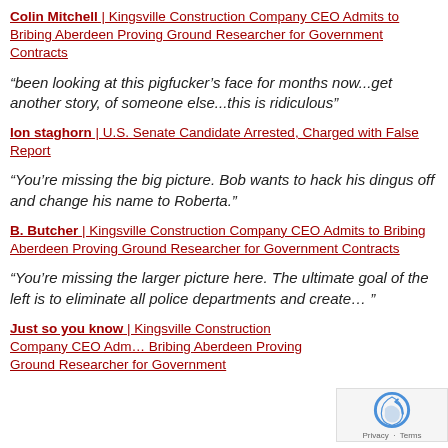Colin Mitchell | Kingsville Construction Company CEO Admits to Bribing Aberdeen Proving Ground Researcher for Government Contracts
“been looking at this pigfucker’s face for months now...get another story, of someone else...this is ridiculous”
Ion staghorn | U.S. Senate Candidate Arrested, Charged with False Report
“You’re missing the big picture. Bob wants to hack his dingus off and change his name to Roberta.”
B. Butcher | Kingsville Construction Company CEO Admits to Bribing Aberdeen Proving Ground Researcher for Government Contracts
“You’re missing the larger picture here. The ultimate goal of the left is to eliminate all police departments and create… ”
Just so you know | Kingsville Construction Company CEO Admits to Bribing Aberdeen Proving Ground Researcher for Government